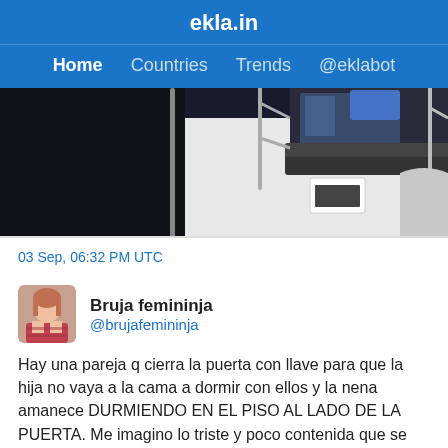ekla.in
Home  Countries  Trends  @eklabot
[Figure (photo): Partial photo of a white boat/speedboat deck with metal railings and seating area, photographed at night or in low light.]
03 Sep, 06:32 PM UTC
Bruja femininja
@brujafemininja
Hay una pareja q cierra la puerta con llave para que la hija no vaya a la cama a dormir con ellos y la nena amanece DURMIENDO EN EL PISO AL LADO DE LA PUERTA. Me imagino lo triste y poco contenida que se debe sentir esa nena y quiero llorar. No tengan hijos si no los van a querer